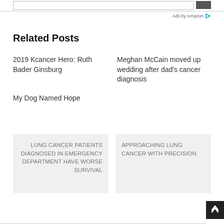Ads by Amazon
Related Posts
2019 Kcancer Hero: Ruth Bader Ginsburg
Meghan McCain moved up wedding after dad's cancer diagnosis
My Dog Named Hope
LUNG CANCER PATIENTS DIAGNOSED IN EMERGENCY DEPARTMENT HAVE WORSE SURVIVAL
APPROACHING LUNG CANCER WITH PRECISION